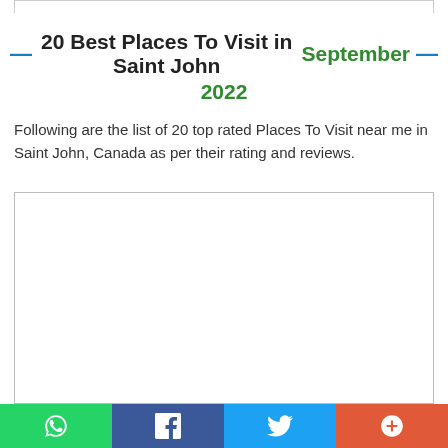20 Best Places To Visit in Saint John September 2022
Following are the list of 20 top rated Places To Visit near me in Saint John, Canada as per their rating and reviews.
[Figure (map): Embedded map showing Saint John, Canada area]